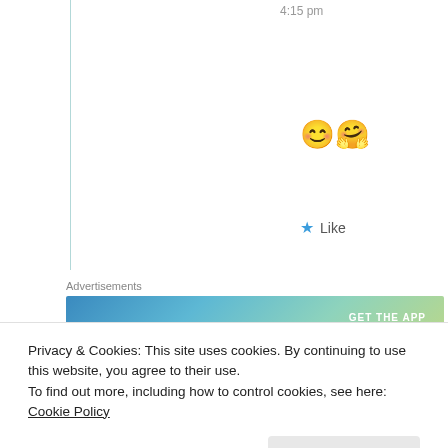4:15 pm
[Figure (illustration): Two emoji: smiling face with smiling eyes 😊 and hugging face 🤗]
★ Like
Advertisements
[Figure (other): WordPress advertisement banner: 'Create immersive stories.' with 'GET THE APP' and WordPress logo]
REPORT THIS AD
GraceoftheSun
14th May 2021 at 3:15 pm
Privacy & Cookies: This site uses cookies. By continuing to use this website, you agree to their use.
To find out more, including how to control cookies, see here: Cookie Policy
Close and accept